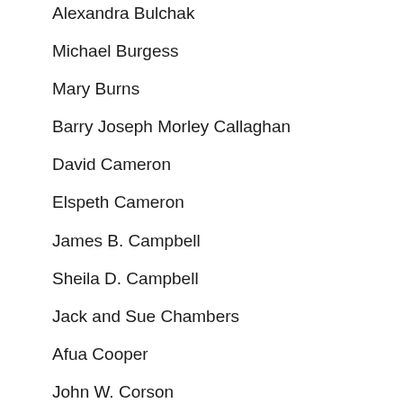Alexandra Bulchak
Michael Burgess
Mary Burns
Barry Joseph Morley Callaghan
David Cameron
Elspeth Cameron
James B. Campbell
Sheila D. Campbell
Jack and Sue Chambers
Afua Cooper
John W. Corson